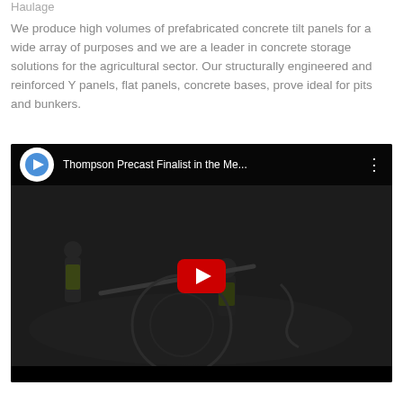Haulage
We produce high volumes of prefabricated concrete tilt panels for a wide array of purposes and we are a leader in concrete storage solutions for the agricultural sector. Our structurally engineered and reinforced Y panels, flat panels, concrete bases, prove ideal for pits and bunkers.
[Figure (screenshot): Embedded YouTube video player showing Thompson Precast workers on a construction site. Title bar reads 'Thompson Precast Finalist in the Me...' with YouTube-style logo and play button overlay.]